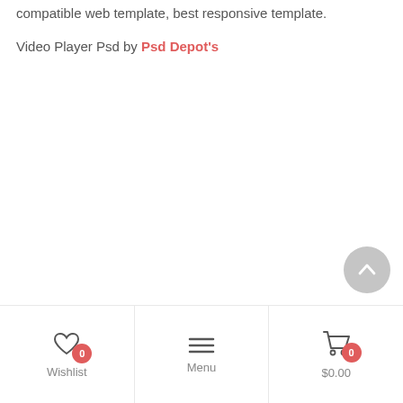compatible web template, best responsive template.
Video Player Psd by Psd Depot's
[Figure (screenshot): Scroll-to-top circular button with upward chevron arrow, gray background]
Wishlist 0 | Menu | $0.00 0